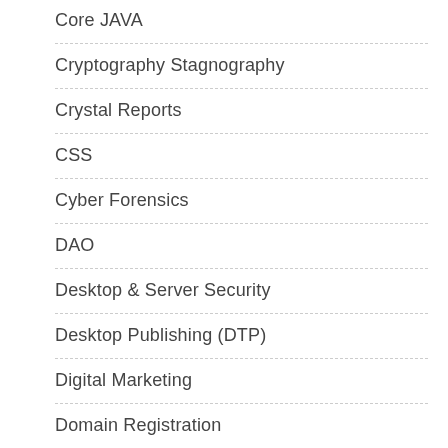Core JAVA
Cryptography Stagnography
Crystal Reports
CSS
Cyber Forensics
DAO
Desktop & Server Security
Desktop Publishing (DTP)
Digital Marketing
Domain Registration
DooPHP
DotNet AJAX